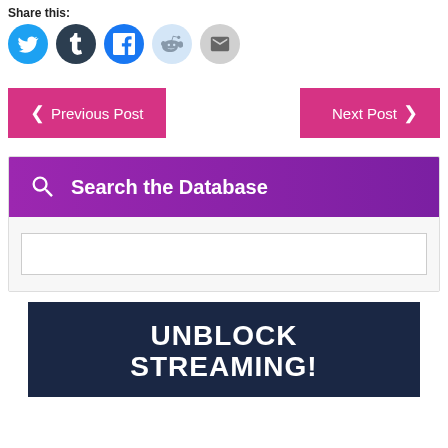Share this:
[Figure (infographic): Social sharing icons: Twitter (blue), Tumblr (dark), Facebook (blue), Reddit (light blue), Email (gray)]
Previous Post
Next Post
Search the Database
[Figure (screenshot): Search input box]
UNBLOCK STREAMING!